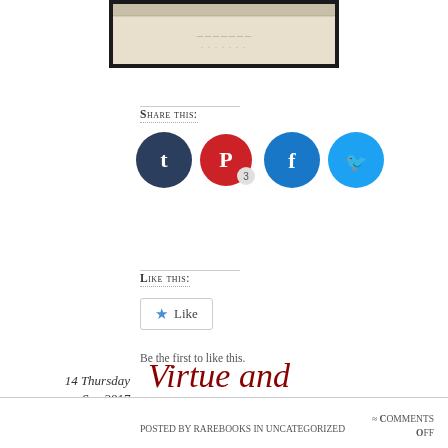[Figure (photo): Cropped top portion of an old book page with faded text, dark border, shown in a rectangular frame]
Share this:
[Figure (infographic): Four social sharing icon circles: Tumblr (dark navy), Pinterest (red with number 3), Facebook (blue), Twitter (light blue)]
Like this:
★ Like
Be the first to like this.
14 Thursday
Sep 2017
Virtue and Knowledge
Posted by rarebooks in Uncategorized
≈ Comments Off